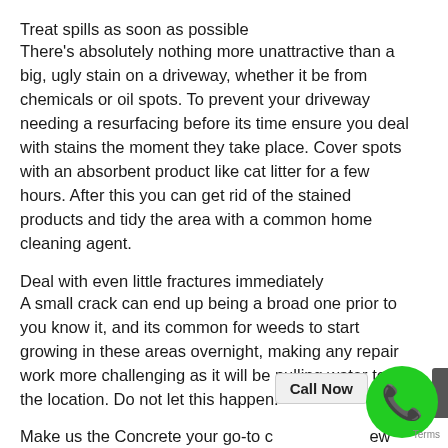Treat spills as soon as possible
There’s absolutely nothing more unattractive than a big, ugly stain on a driveway, whether it be from chemicals or oil spots. To prevent your driveway needing a resurfacing before its time ensure you deal with stains the moment they take place. Cover spots with an absorbent product like cat litter for a few hours. After this you can get rid of the stained products and tidy the area with a common home cleaning agent.
Deal with even little fractures immediately
A small crack can end up being a broad one prior to you know it, and its common for weeds to start growing in these areas overnight, making any repair work more challenging as it will be pulling water to the location. Do not let this happen.
Make us the Concrete your go-to concrete driveway maintenance experts.